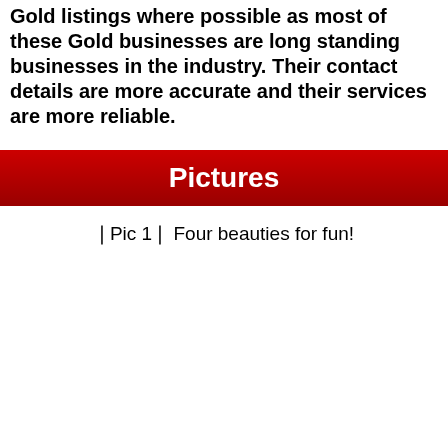Gold listings where possible as most of these Gold businesses are long standing businesses in the industry. Their contact details are more accurate and their services are more reliable.
Pictures
❰Pic 1❱ Four beauties for fun!